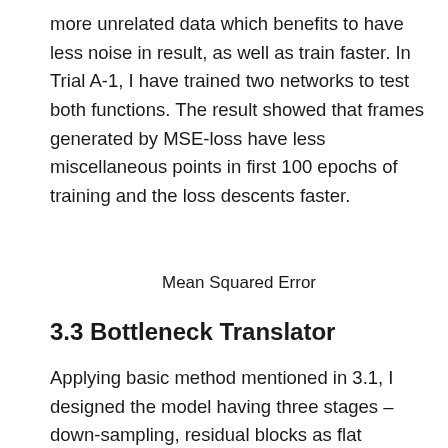more unrelated data which benefits to have less noise in result, as well as train faster. In Trial A-1, I have trained two networks to test both functions. The result showed that frames generated by MSE-loss have less miscellaneous points in first 100 epochs of training and the loss descents faster.
Mean Squared Error
3.3 Bottleneck Translator
Applying basic method mentioned in 3.1, I designed the model having three stages – down-sampling, residual blocks as flat convolution, and up-sampling. These trials will disclose capability of bottleneck-like model in related job. In real